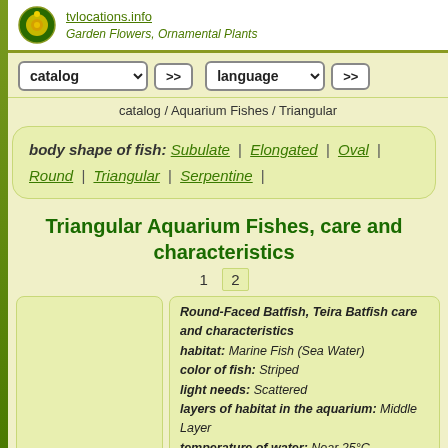tvlocations.info Garden Flowers, Ornamental Plants
catalog  >>   language  >>
catalog / Aquarium Fishes / Triangular
body shape of fish: Subulate | Elongated | Oval | Round | Triangular | Serpentine |
Triangular Aquarium Fishes, care and characteristics
1  2
Round-Faced Batfish, Teira Batfish care and characteristics
habitat: Marine Fish (Sea Water)
color of fish: Striped
light needs: Scattered
layers of habitat in the aquarium: Middle Layer
temperature of water: Near 25°C
body shape of fish: Triangular